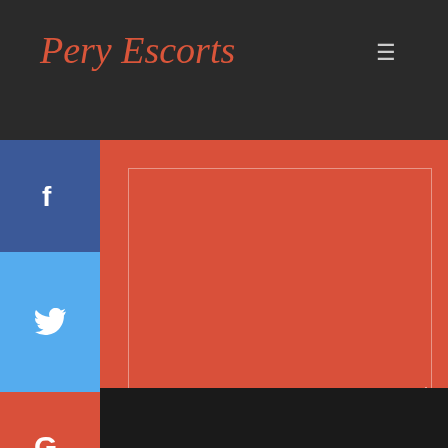Pery Escorts
[Figure (screenshot): Social media share buttons on left: Facebook (blue), Twitter (light blue), Google (red/orange), LinkedIn (blue), WhatsApp (green). Main content area is red/orange with a message textarea, a SEND MESSAGE button with white border, and partial copyright footer text.]
SEND MESSAGE
opyright All Rights Reserved. Delhi Escorts | Escorts in i